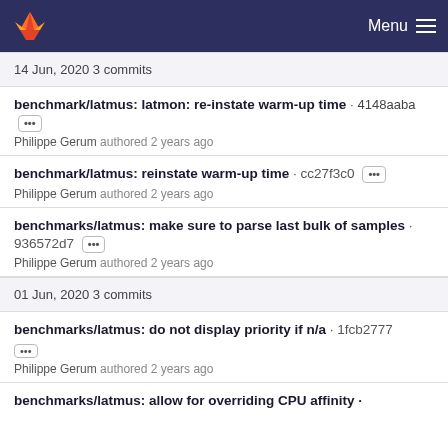Menu
14 Jun, 2020 3 commits
benchmark/latmus: latmon: re-instate warm-up time · 4148aaba Philippe Gerum authored 2 years ago
benchmark/latmus: reinstate warm-up time · cc27f3c0 Philippe Gerum authored 2 years ago
benchmarks/latmus: make sure to parse last bulk of samples · 936572d7 Philippe Gerum authored 2 years ago
01 Jun, 2020 3 commits
benchmarks/latmus: do not display priority if n/a · 1fcb2777 Philippe Gerum authored 2 years ago
benchmarks/latmus: allow for overriding CPU affinity ·